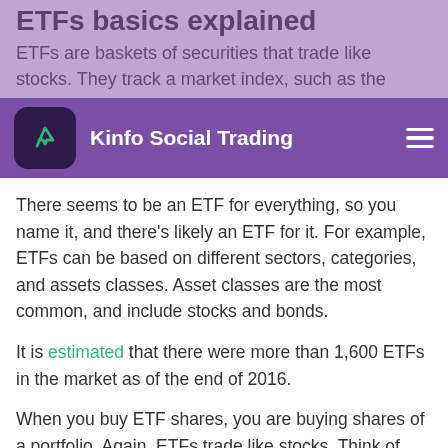ETFs basics explained
ETFs are baskets of securities that trade like stocks. They track a market index, such as the Dow Jones, Nasdaq-100 and S&P 500.
Kinfo Social Trading
There seems to be an ETF for everything, so you name it, and there's likely an ETF for it. For example, ETFs can be based on different sectors, categories, and assets classes. Asset classes are the most common, and include stocks and bonds.
It is estimated that there were more than 1,600 ETFs in the market as of the end of 2016.
When you buy ETF shares, you are buying shares of a portfolio. Again, ETFs trade like stocks. Think of them as tracking an underlying asset, such as shares of stock, bonds, and even gold bars.